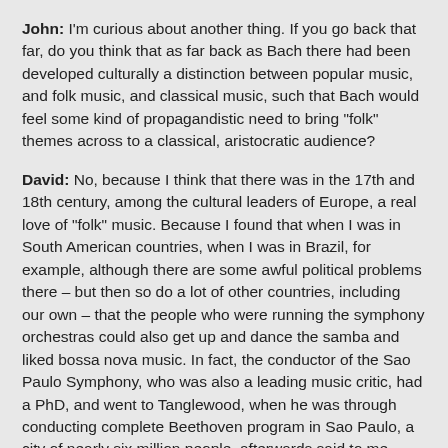John: I'm curious about another thing. If you go back that far, do you think that as far back as Bach there had been developed culturally a distinction between popular music, and folk music, and classical music, such that Bach would feel some kind of propagandistic need to bring "folk" themes across to a classical, aristocratic audience?
David: No, because I think that there was in the 17th and 18th century, among the cultural leaders of Europe, a real love of "folk" music. Because I found that when I was in South American countries, when I was in Brazil, for example, although there are some awful political problems there – but then so do a lot of other countries, including our own – that the people who were running the symphony orchestras could also get up and dance the samba and liked bossa nova music. In fact, the conductor of the Sao Paulo Symphony, who was also a leading music critic, had a PhD, and went to Tanglewood, when he was through conducting complete Beethoven program in Sao Paulo, a city of nearly six million people, afterwards said to me, "Come on, David, we're going to hear some real Brazilian music!" So